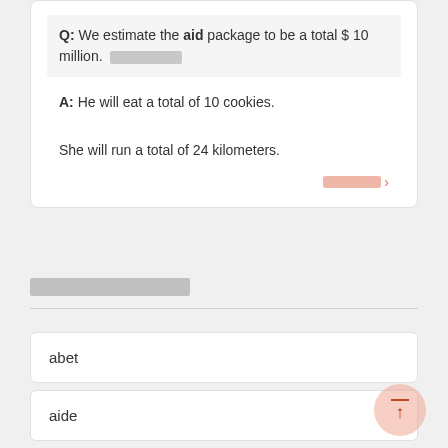Q: We estimate the aid package to be a total $ 10 million. [redacted]
A: He will eat a total of 10 cookies.

She will run a total of 24 kilometers.
[redacted link] >
[redacted section header]
abet
aide